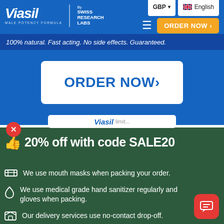[Figure (screenshot): Viasil website header with logo, navigation, currency/language selectors, and ORDER NOW button]
100% natural. Fast acting. No side effects. Guaranteed.
ORDER NOW >
👍 20% off with code SALE20
We use mouth masks when packing your order.
We use medical grade hand sanitizer regularly and gloves when packing.
Our delivery services use no-contact drop-off.